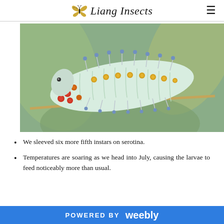Liang Insects
[Figure (photo): Close-up photograph of a large pale green caterpillar with blue-tipped spines and yellow/orange spots, resting on a eucalyptus leaf with smaller red/orange insects nearby.]
We sleeved six more fifth instars on serotina.
Temperatures are soaring as we head into July, causing the larvae to feed noticeably more than usual.
POWERED BY weebly